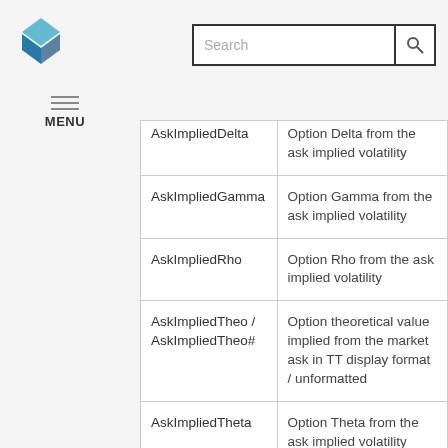[Figure (logo): Trading Technologies diamond/chevron logo in blue]
[Figure (other): Search box with magnifying glass icon]
[Figure (other): Hamburger menu icon with MENU label]
| Field | Description |
| --- | --- |
| AskImpliedDelta | Option Delta from the ask implied volatility |
| AskImpliedGamma | Option Gamma from the ask implied volatility |
| AskImpliedRho | Option Rho from the ask implied volatility |
| AskImpliedTheo / AskImpliedTheo# | Option theoretical value implied from the market ask in TT display format / unformatted |
| AskImpliedTheta | Option Theta from the ask implied volatility |
| AskImpliedVega | Option Vega from the ask implied volatility |
| AskImpliedVolatility | Option implied volatility |